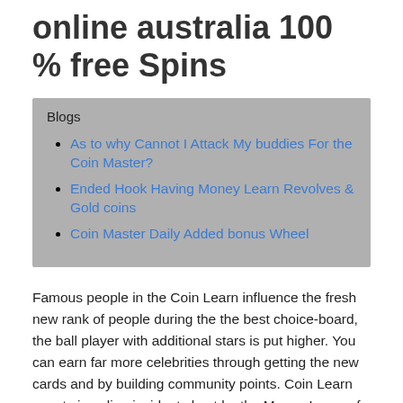online australia 100 % free Spins
Blogs
As to why Cannot I Attack My buddies For the Coin Master?
Ended Hook Having Money Learn Revolves & Gold coins
Coin Master Daily Added bonus Wheel
Famous people in the Coin Learn influence the fresh new rank of people during the the best choice-board, the ball player with additional stars is put higher. You can earn far more celebrities through getting the new cards and by building community points. Coin Learn events is online incidents kept by the Money Learn of time to time, and additionally they leave you big advantages if you